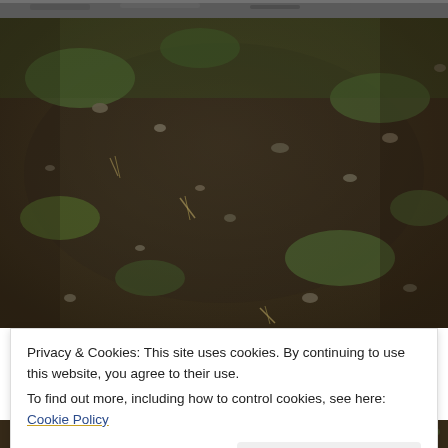[Figure (photo): Top partial strip of a photo showing ground with dirt, small rocks, and sparse green moss/grass patches — partially cropped at the very top of the page.]
[Figure (photo): Photograph of a ground surface covered in dark soil, small pebbles and stones, sparse patches of green moss and dry grass, taken from above at an angle.]
Privacy & Cookies: This site uses cookies. By continuing to use this website, you agree to their use.
To find out more, including how to control cookies, see here: Cookie Policy
[Figure (photo): Bottom partial strip of a ground/nature photo, partially cropped at the bottom of the page.]